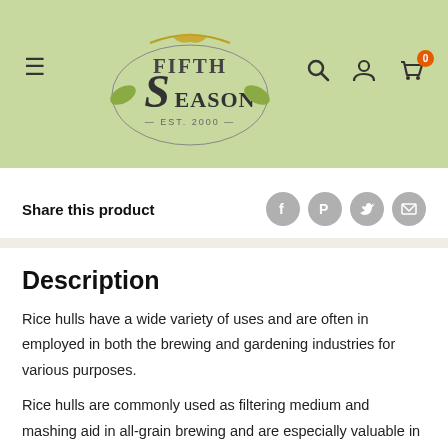Fifth Season (logo), Est. 2000
Share this product
Description
Rice hulls have a wide variety of uses and are often in employed in both the brewing and gardening industries for various purposes.
Rice hulls are commonly used as filtering medium and mashing aid in all-grain brewing and are especially valuable in brews that utilize larger volumes of wheat, oats, or rye. The hulls help prevent a stuck mash by increasing efficient flow through the grain bed in the lauter tun. Rice hulls do not...